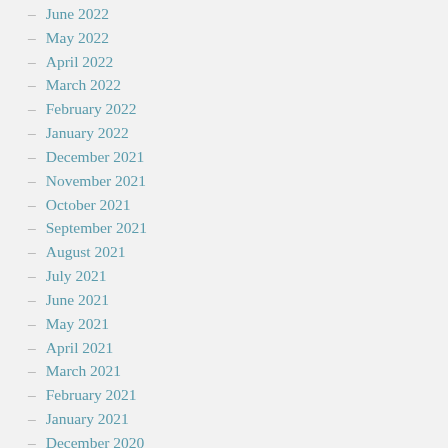June 2022
May 2022
April 2022
March 2022
February 2022
January 2022
December 2021
November 2021
October 2021
September 2021
August 2021
July 2021
June 2021
May 2021
April 2021
March 2021
February 2021
January 2021
December 2020
November 2020
October 2020
September 2020
August 2020
July 2020